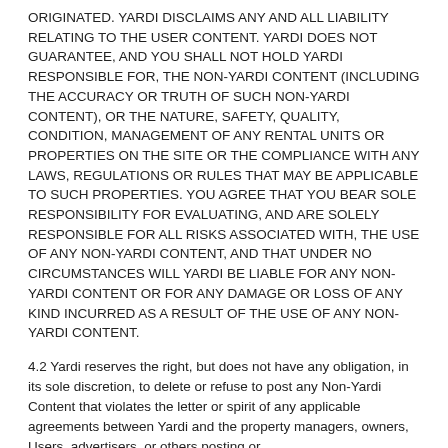originated. YARDI DISCLAIMS ANY AND ALL LIABILITY RELATING TO THE USER CONTENT. YARDI DOES NOT GUARANTEE, AND YOU SHALL NOT HOLD YARDI RESPONSIBLE FOR, THE NON-YARDI CONTENT (INCLUDING THE ACCURACY OR TRUTH OF SUCH NON-YARDI CONTENT), OR THE NATURE, SAFETY, QUALITY, CONDITION, MANAGEMENT OF ANY RENTAL UNITS OR PROPERTIES ON THE SITE OR THE COMPLIANCE WITH ANY LAWS, REGULATIONS OR RULES THAT MAY BE APPLICABLE TO SUCH PROPERTIES. YOU AGREE THAT YOU BEAR SOLE RESPONSIBILITY FOR EVALUATING, AND ARE SOLELY RESPONSIBLE FOR ALL RISKS ASSOCIATED WITH, THE USE OF ANY NON-YARDI CONTENT, AND THAT UNDER NO CIRCUMSTANCES WILL YARDI BE LIABLE FOR ANY NON-YARDI CONTENT OR FOR ANY DAMAGE OR LOSS OF ANY KIND INCURRED AS A RESULT OF THE USE OF ANY NON-YARDI CONTENT.
4.2 Yardi reserves the right, but does not have any obligation, in its sole discretion, to delete or refuse to post any Non-Yardi Content that violates the letter or spirit of any applicable agreements between Yardi and the property managers, owners, Users, advertisers, or others posting or